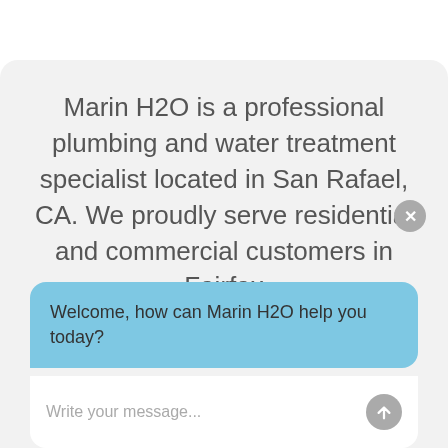Marin H2O is a professional plumbing and water treatment specialist located in San Rafael, CA. We proudly serve residential and commercial customers in Fairfax
[Figure (screenshot): Chat widget popup with blue message bubble saying 'Welcome, how can Marin H2O help you today?' and a text input field with placeholder 'Write your message...' and a send button. A close (X) button appears at top right of the chat widget.]